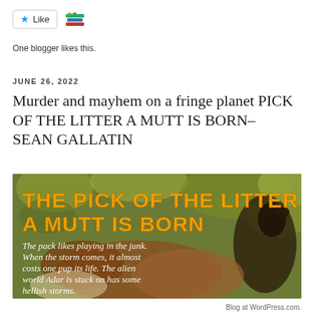[Figure (illustration): Like button with star icon and a stacked books icon beside it]
One blogger likes this.
JUNE 26, 2022
Murder and mayhem on a fringe planet PICK OF THE LITTER A MUTT IS BORN– SEAN GALLATIN
[Figure (photo): Book cover image for 'The Pick of the Litter A Mutt is Born' showing dogs with yellow text title and white italic subtitle text: 'The pack likes playing in the junk. When the storm comes, it almost costs one pup its life. The alien world Adar is stuck on has some hellish storms.']
Blog at WordPress.com.